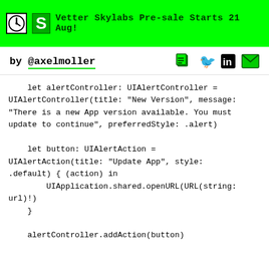Vetter Skylabs Pre-sale Starts 21 Aug!
by @axelmoller
let alertController: UIAlertController =
UIAlertController(title: "New Version", message:
"There is a new App version available. You must
update to continue", preferredStyle: .alert)

    let button: UIAlertAction =
UIAlertAction(title: "Update App", style:
.default) { (action) in
        UIApplication.shared.openURL(URL(string:
url)!)
    }

    alertController.addAction(button)